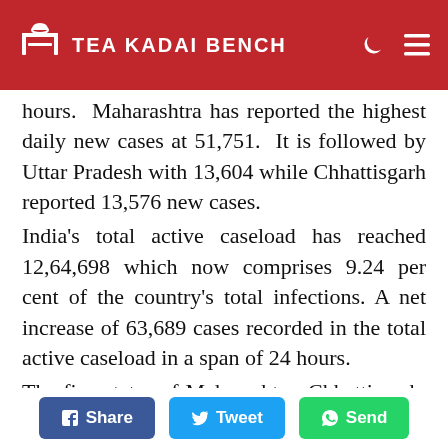Tea Kadai Bench
hours. Maharashtra has reported the highest daily new cases at 51,751. It is followed by Uttar Pradesh with 13,604 while Chhattisgarh reported 13,576 new cases.
India's total active caseload has reached 12,64,698 which now comprises 9.24 per cent of the country's total infections. A net increase of 63,689 cases recorded in the total active caseload in a span of 24 hours.
The five states of Maharashtra, Chhattisgarh, Karnataka, Uttar Pradesh and Kerala cumulatively account for 68.85 per cent of
Share  Tweet  Send